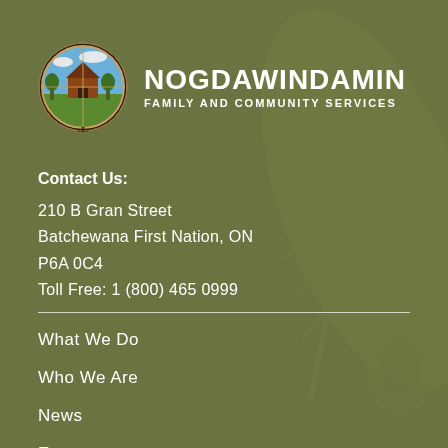[Figure (logo): Nogdawindamin Family and Community Services circular logo with scenic landscape inside, and organization name text NOGDAWINDAMIN FAMILY AND COMMUNITY SERVICES]
Contact Us:
210 B Gran Street
Batchewana First Nation, ON
P6A 0C4
Toll Free: 1 (800) 465 0999
What We Do
Who We Are
News
Events